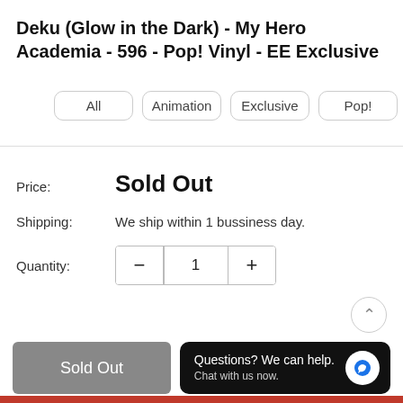Deku (Glow in the Dark) - My Hero Academia - 596 - Pop! Vinyl - EE Exclusive
All
Animation
Exclusive
Pop!
P V (partial)
Price: Sold Out
Shipping: We ship within 1 bussiness day.
Quantity: 1
Sold Out
Questions? We can help. Chat with us now.